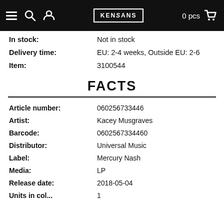KENCANS — 0 pcs
In stock: Not in stock
Delivery time: EU: 2-4 weeks, Outside EU: 2-6
Item: 3100544
FACTS
Article number: 060256733446
Artist: Kacey Musgraves
Barcode: 0602567334460
Distributor: Universal Music
Label: Mercury Nash
Media: LP
Release date: 2018-05-04